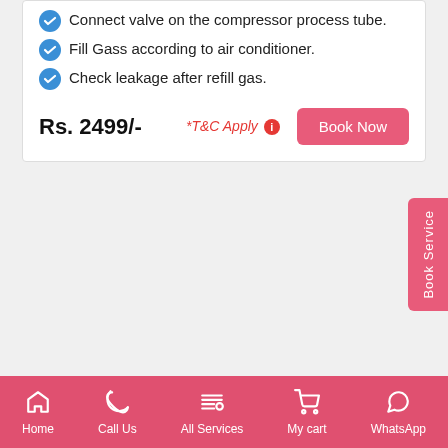Connect valve on the compressor process tube.
Fill Gass according to air conditioner.
Check leakage after refill gas.
Rs. 2499/-
*T&C Apply
Home | Call Us | All Services | My cart | WhatsApp